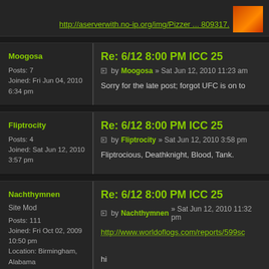http://aserverwith.no-ip.org/img/Pizzer ... 809317.
Re: 6/12 8:00 PM ICC 25
by Moogosa » Sat Jun 12, 2010 11:23 am
Moogosa
Posts: 7
Joined: Fri Jun 04, 2010 6:34 pm
Sorry for the late post; forgot UFC is on to
Re: 6/12 8:00 PM ICC 25
by Fliptrocity » Sat Jun 12, 2010 3:58 pm
Fliptrocity
Posts: 4
Joined: Sat Jun 12, 2010 3:57 pm
Fliptrocious, Deathknight, Blood, Tank.
Re: 6/12 8:00 PM ICC 25
by Nachthymnen » Sat Jun 12, 2010 11:32 pm
Nachthymnen
Site Mod
Posts: 111
Joined: Fri Oct 02, 2009 10:50 pm
Location: Birmingham, Alabama
http://www.worldoflogs.com/reports/599sc
hi